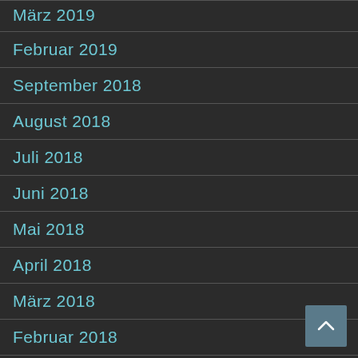März 2019
Februar 2019
September 2018
August 2018
Juli 2018
Juni 2018
Mai 2018
April 2018
März 2018
Februar 2018
Januar 2018
Dezember 2017
November 2017